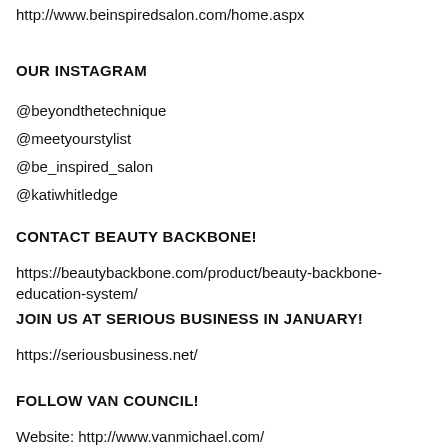http://www.beinspiredsalon.com/home.aspx
OUR INSTAGRAM
@beyondthetechnique
@meetyourstylist
@be_inspired_salon
@katiwhitledge
CONTACT BEAUTY BACKBONE!
https://beautybackbone.com/product/beauty-backbone-education-system/
JOIN US AT SERIOUS BUSINESS IN JANUARY!
https://seriousbusiness.net/
FOLLOW VAN COUNCIL!
Website: http://www.vanmichael.com/